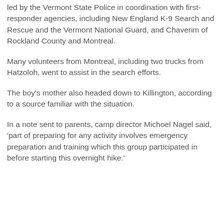led by the Vermont State Police in coordination with first-responder agencies, including New England K-9 Search and Rescue and the Vermont National Guard, and Chaverim of Rockland County and Montreal.
Many volunteers from Montreal, including two trucks from Hatzoloh, went to assist in the search efforts.
The boy's mother also headed down to Killington, according to a source familiar with the situation.
In a note sent to parents, camp director Michoel Nagel said, 'part of preparing for any activity involves emergency preparation and training which this group participated in before starting this overnight hike.'